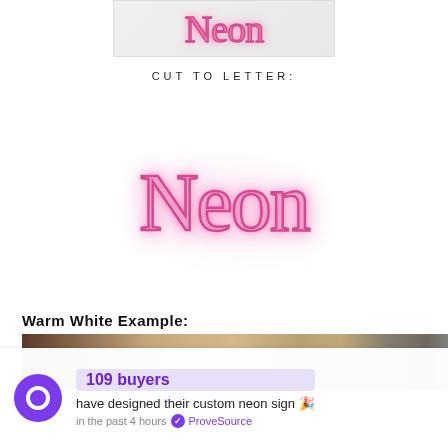[Figure (illustration): Partial view of a neon-style pink cursive 'Neon' text on a light gray background, cropped at top]
CUT TO LETTER:
[Figure (illustration): Pink neon-style cursive sticker text reading 'Neon' with glowing pink outline and shadow on white background]
Warm White Example:
[Figure (photo): Partial photo showing a warm-toned room setting with neon sign, hands, and dried floral arrangement]
109 buyers have designed their custom neon sign 🎉 in the past 4 hours ✅ ProveSource